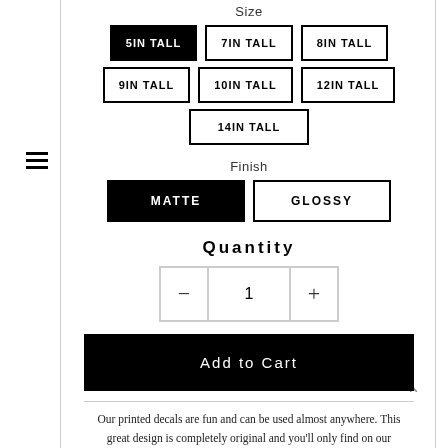Size
5IN TALL (selected), 7IN TALL, 8IN TALL
9IN TALL, 10IN TALL, 12IN TALL
14IN TALL
Finish
MATTE (selected), GLOSSY
Quantity
1
Add to Cart
Our printed decals are fun and can be used almost anywhere. This great design is completely original and you'll only find on our store! Choose a size and whether you want a